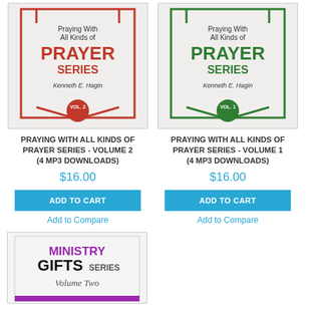[Figure (illustration): Book cover: Praying With All Kinds of Prayer Series Vol. 2 by Kenneth E. Hagin, red design]
[Figure (illustration): Book cover: Praying With All Kinds of Prayer Series Vol. 1 by Kenneth E. Hagin, green design]
PRAYING WITH ALL KINDS OF PRAYER SERIES - VOLUME 2 (4 MP3 DOWNLOADS)
PRAYING WITH ALL KINDS OF PRAYER SERIES - VOLUME 1 (4 MP3 DOWNLOADS)
$16.00
$16.00
ADD TO CART
ADD TO CART
Add to Compare
Add to Compare
[Figure (illustration): Book cover: Ministry Gifts Series Volume Two, purple and black design, partially visible]